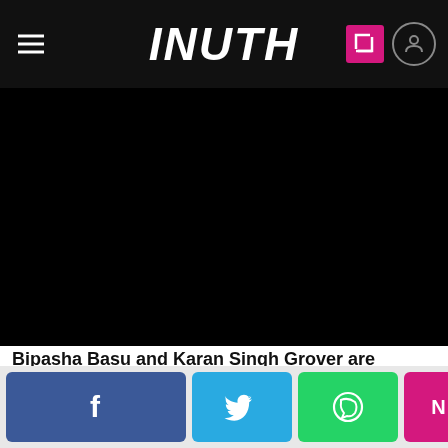INUTH
[Figure (photo): Very dark/nearly black photograph, appears to show people in a dark setting]
Bipasha Basu and Karan Singh Grover are chilling in London now
Read More
Facebook | Twitter | WhatsApp | NEXT >